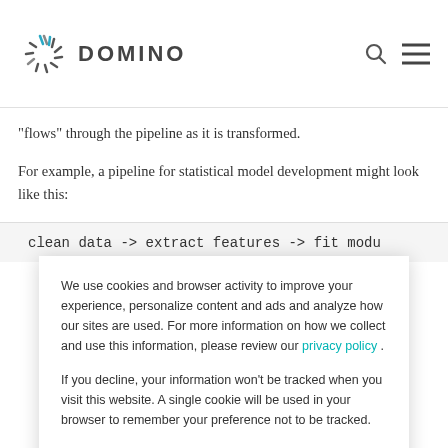DOMINO
"flows" through the pipeline as it is transformed.
For example, a pipeline for statistical model development might look like this:
clean data -> extract features -> fit modu
We use cookies and browser activity to improve your experience, personalize content and ads and analyze how our sites are used. For more information on how we collect and use this information, please review our privacy policy .
If you decline, your information won't be tracked when you visit this website. A single cookie will be used in your browser to remember your preference not to be tracked.
Cookie preferences   Accept   Decline